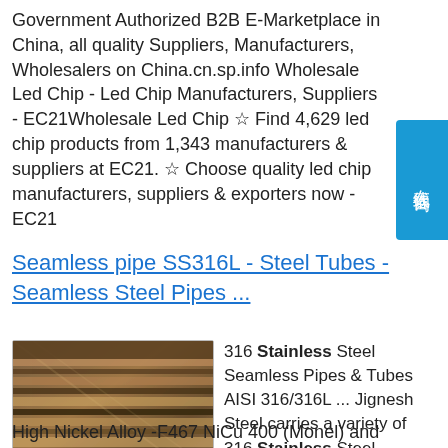Government Authorized B2B E-Marketplace in China, all quality Suppliers, Manufacturers, Wholesalers on China.cn.sp.info Wholesale Led Chip - Led Chip Manufacturers, Suppliers - EC21Wholesale Led Chip ☆ Find 4,629 led chip products from 1,343 manufacturers & suppliers at EC21. ☆ Choose quality led chip manufacturers, suppliers & exporters now - EC21
[Figure (other): Blue vertical sidebar button with Chinese characters 在线咨询 (online consultation)]
Seamless pipe SS316L - Steel Tubes - Seamless Steel Pipes ...
[Figure (photo): Photo of stacked steel plates/sheets with metallic brown and rust coloring]
316 Stainless Steel Seamless Pipes & Tubes AISI 316/316L ... Jignesh Steel carries a variety of 316 Stainless Steel Seamless Pipes & Tubes from Carbon Steel, Stainless Steel and High Nickel Alloy -F467 NiCu 400 (Monel) and commercial 18-8/304, 316 Stainless Steel. We supply 316 Stainless